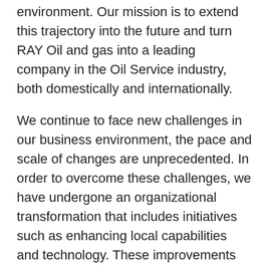environment. Our mission is to extend this trajectory into the future and turn RAY Oil and gas into a leading company in the Oil Service industry, both domestically and internationally.
We continue to face new challenges in our business environment, the pace and scale of changes are unprecedented. In order to overcome these challenges, we have undergone an organizational transformation that includes initiatives such as enhancing local capabilities and technology. These improvements have enabled us to identify and address rapid shifts in the Oil and Gas landscape. But there is more to be done, and we remain fully committed to strengthening our capabilities with focus on HSE and service Quality as key drivers for our success and business continuity. We foster an environment of employee recognition, respect, personnel development and camaraderie while